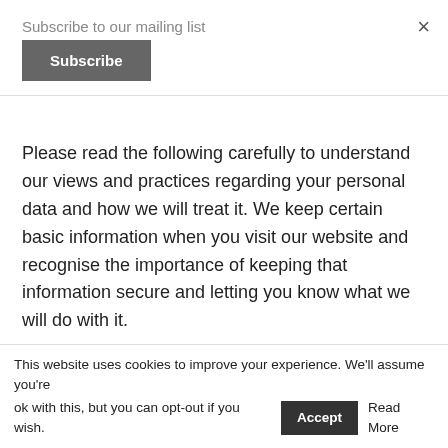Subscribe to our mailing list
Subscribe
×
Please read the following carefully to understand our views and practices regarding your personal data and how we will treat it. We keep certain basic information when you visit our website and recognise the importance of keeping that information secure and letting you know what we will do with it.
Processing of your personal data
Under the GDPR (General Data Protection Regulation)...
This website uses cookies to improve your experience. We'll assume you're ok with this, but you can opt-out if you wish.  Accept  Read More